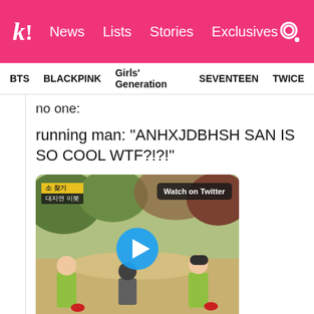k! News Lists Stories Exclusives
BTS BLACKPINK Girls' Generation SEVENTEEN TWICE
no one:
running man: "ANHXJDBHSH SAN IS SO COOL WTF?!?!"
[Figure (screenshot): Video thumbnail showing Running Man TV show scene with people wearing yellow-green vests sitting outdoors, with a Twitter video embed overlay showing a play button and 'Watch on Twitter' badge.]